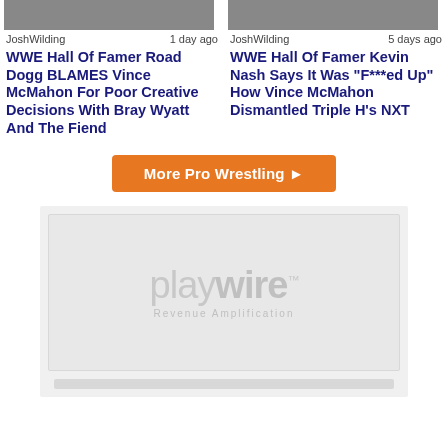[Figure (photo): Thumbnail image for Road Dogg/Bray Wyatt article]
JoshWilding   1 day ago
WWE Hall Of Famer Road Dogg BLAMES Vince McMahon For Poor Creative Decisions With Bray Wyatt And The Fiend
[Figure (photo): Thumbnail image for Kevin Nash/NXT article]
JoshWilding   5 days ago
WWE Hall Of Famer Kevin Nash Says It Was "F***ed Up" How Vince McMahon Dismantled Triple H's NXT
More Pro Wrestling ▶
[Figure (logo): Playwire Revenue Amplification advertisement placeholder]